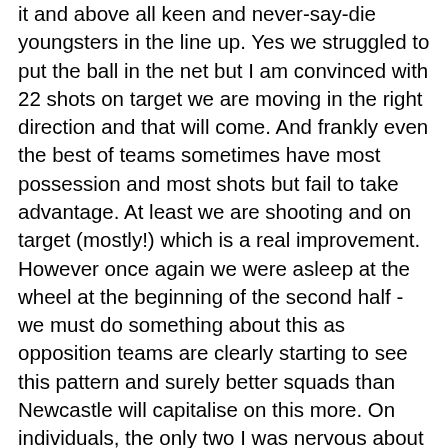it and above all keen and never-say-die youngsters in the line up. Yes we struggled to put the ball in the net but I am convinced with 22 shots on target we are moving in the right direction and that will come. And frankly even the best of teams sometimes have most possession and most shots but fail to take advantage. At least we are shooting and on target (mostly!) which is a real improvement. However once again we were asleep at the wheel at the beginning of the second half - we must do something about this as opposition teams are clearly starting to see this pattern and surely better squads than Newcastle will capitalise on this more. On individuals, the only two I was nervous about were Salisu, who I felt was almost too hungry to get and keep the ball and on a couple of occasions risked leaving us very exposed; and Diallo who, I was under the impression, was responsible for giving the ball away - and being too far up the pitch when he did - which led to the second Newcastle goal. Those two aside, the positives were Redmond, whose ball skills made the first goal, and McCarthy who undoubtedly kept us in the game on at least two occasions. But everybody played well and most importantly played for the team as if their lives depended on it, particularly when defending. Yes we sacked it up for the goals but we didn't let that get us